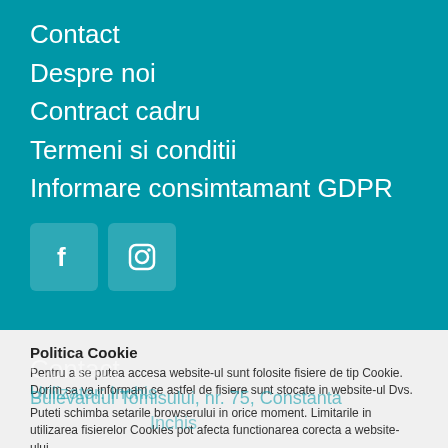Contact
Despre noi
Contract cadru
Termeni si conditii
Informare consimtamant GDPR
[Figure (illustration): Social media icons: Facebook and Instagram buttons]
Politica Cookie
Pentru a se putea accesa website-ul sunt folosite fisiere de tip Cookie. Dorim sa va informam ce astfel de fisiere sunt stocate in website-ul Dvs.
Puteti schimba setarile browserului in orice moment. Limitarile in utilizarea fisierelor Cookies pot afecta functionarea corecta a website-ului.
Sunt de acord